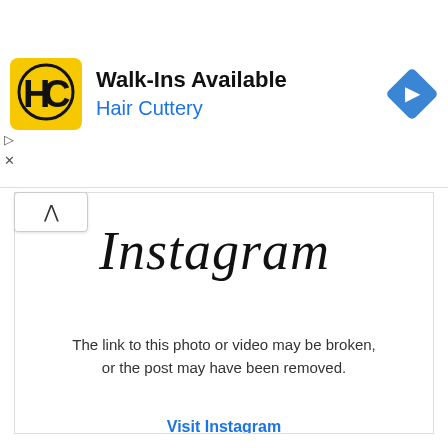[Figure (logo): Hair Cuttery advertisement banner with HC logo, Walk-Ins Available title, Hair Cuttery subtitle, and navigation icon]
[Figure (logo): Instagram logo/wordmark in cursive script]
The link to this photo or video may be broken, or the post may have been removed.
Visit Instagram